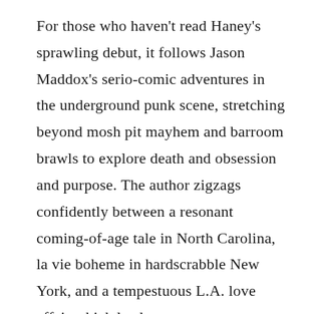For those who haven't read Haney's sprawling debut, it follows Jason Maddox's serio-comic adventures in the underground punk scene, stretching beyond mosh pit mayhem and barroom brawls to explore death and obsession and purpose. The author zigzags confidently between a resonant coming-of-age tale in North Carolina, la vie boheme in hardscrabble New York, and a tempestuous L.A. love affair which leads our narrator to Belgrade for climax and denouement.
Even readers ambivalent to punk will be drawn in by the compelling irresistible voice of J...